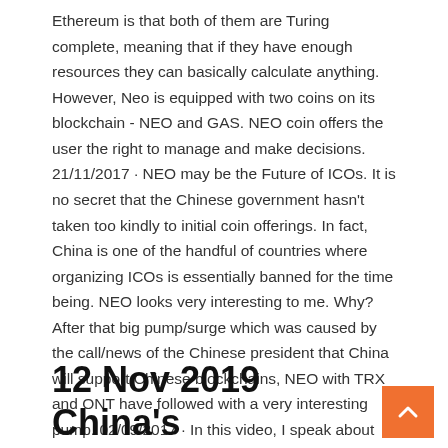Ethereum is that both of them are Turing complete, meaning that if they have enough resources they can basically calculate anything. However, Neo is equipped with two coins on its blockchain - NEO and GAS. NEO coin offers the user the right to manage and make decisions. 21/11/2017 · NEO may be the Future of ICOs. It is no secret that the Chinese government hasn't taken too kindly to initial coin offerings. In fact, China is one of the handful of countries where organizing ICOs is essentially banned for the time being. NEO looks very interesting to me. Why? After that big pump/surge which was caused by the call/news of the Chinese president that China will support Chinese blockchains, NEO with TRX and ONT have followed with a very interesting pump. 02/09/2017 · In this video, I speak about NEO coin. I also speak about my NEO's outlook in China. Neo describes itself as an open-source platform driven by the community. It utilizes blockchain technology and digital identities to digitize and automate the ...
12 Nov 2019 China's